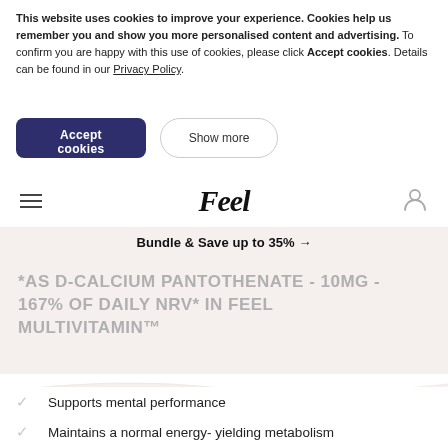This website uses cookies to improve your experience. Cookies help us remember you and show you more personalised content and advertising. To confirm you are happy with this use of cookies, please click Accept cookies. Details can be found in our Privacy Policy.
Accept cookies
Show more
Feel
Bundle & Save up to 35% →
*AS D-CALCIUM PANTOTHENATE - 10MG - 167% OF DAILY NRV* IN FEEL MULTIVITAMIN™
Supports mental performance
Maintains a normal energy- yielding metabolism